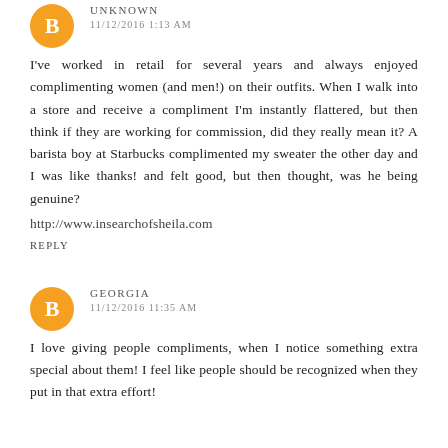UNKNOWN
11/12/2016 1:13 AM
I've worked in retail for several years and always enjoyed complimenting women (and men!) on their outfits. When I walk into a store and receive a compliment I'm instantly flattered, but then think if they are working for commission, did they really mean it? A barista boy at Starbucks complimented my sweater the other day and I was like thanks! and felt good, but then thought, was he being genuine?
http://www.insearchofsheila.com
REPLY
GEORGIA
11/12/2016 11:35 AM
I love giving people compliments, when I notice something extra special about them! I feel like people should be recognized when they put in that extra effort!